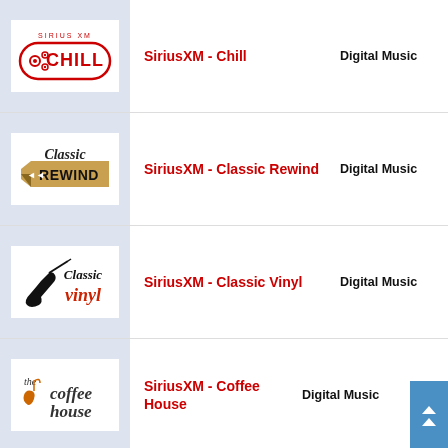SiriusXM - Chill | Digital Music
SiriusXM - Classic Rewind | Digital Music
SiriusXM - Classic Vinyl | Digital Music
SiriusXM - Coffee House | Digital Music